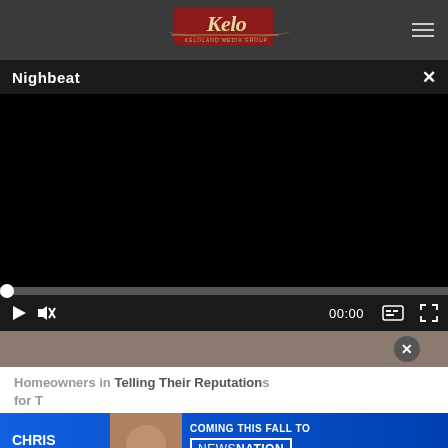[Figure (logo): Keloland Media Group logo in red and gold on dark header bar]
Nighbeat
[Figure (screenshot): Black video player area with scrubber bar at position 0, showing play button, mute button, 00:00 timestamp, captions button, and fullscreen button]
[Figure (photo): Partial thumbnail image below video player with dismiss X circle button]
Homeowners in Telling Their Reputations for T
[Figure (infographic): Advertisement banner: Chris Cuomo Coming This Fall to NewsNation - Find Your Channel]
Kellini.com